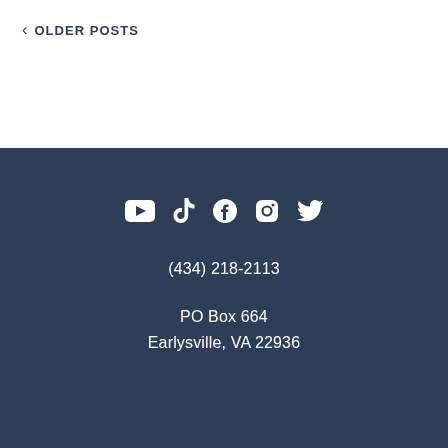< OLDER POSTS
[Figure (infographic): Footer bar with social media icons: YouTube, TikTok, Facebook, Instagram, Twitter]
(434) 218-2113
PO Box 664
Earlysville, VA 22936